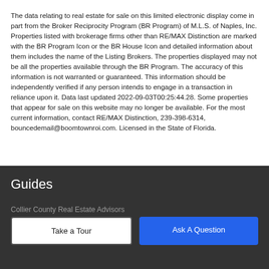The data relating to real estate for sale on this limited electronic display come in part from the Broker Reciprocity Program (BR Program) of M.L.S. of Naples, Inc. Properties listed with brokerage firms other than RE/MAX Distinction are marked with the BR Program Icon or the BR House Icon and detailed information about them includes the name of the Listing Brokers. The properties displayed may not be all the properties available through the BR Program. The accuracy of this information is not warranted or guaranteed. This information should be independently verified if any person intends to engage in a transaction in reliance upon it. Data last updated 2022-09-03T00:25:44.28. Some properties that appear for sale on this website may no longer be available. For the most current information, contact RE/MAX Distinction, 239-398-6314, bouncedemail@boomtownroi.com. Licensed in the State of Florida.
Guides
Collier County Real Estate Advisors
Take a Tour
Ask A Question